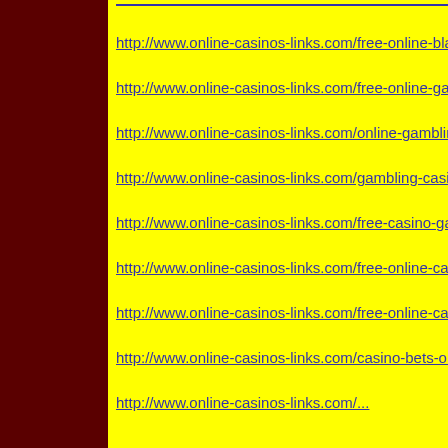http://www.online-casinos-links.com/free-online-blackjack.h...
http://www.online-casinos-links.com/free-online-gambling.h...
http://www.online-casinos-links.com/online-gambling-casin...
http://www.online-casinos-links.com/gambling-casino-onlin...
http://www.online-casinos-links.com/free-casino-gambling.h...
http://www.online-casinos-links.com/free-online-casino.htm...
http://www.online-casinos-links.com/free-online-casino-gam...
http://www.online-casinos-links.com/casino-bets-online.htm...
http://www.online-casinos-links.com/...